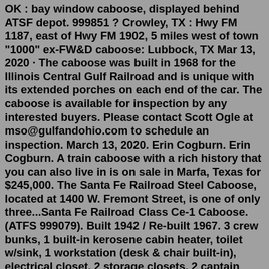OK : bay window caboose, displayed behind ATSF depot. 999851 ? Crowley, TX : Hwy FM 1187, east of Hwy FM 1902, 5 miles west of town "1000" ex-FW&D caboose: Lubbock, TX Mar 13, 2020 · The caboose was built in 1968 for the Illinois Central Gulf Railroad and is unique with its extended porches on each end of the car. The caboose is available for inspection by any interested buyers. Please contact Scott Ogle at mso@gulfandohio.com to schedule an inspection. March 13, 2020. Erin Cogburn. Erin Cogburn. A train caboose with a rich history that you can also live in is on sale in Marfa, Texas for $245,000. The Santa Fe Railroad Steel Caboose, located at 1400 W. Fremont Street, is one of only three...Santa Fe Railroad Class Ce-1 Caboose. (ATFS 999079). Built 1942 / Re-built 1967. 3 crew bunks, 1 built-in kerosene cabin heater, toilet w/sink, 1 workstation (desk & chair built-in), electrical closet, 2 storage closets, 2 captain type chairs in the cupola. Original Santa Fe colors w/Santa Fe logo's. Retired in 1987.